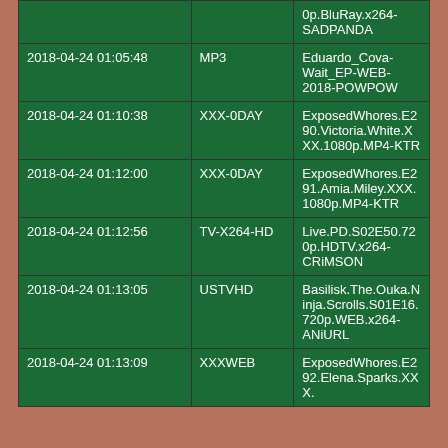| Date/Time | Category | Title |
| --- | --- | --- |
|  |  | 0p.BluRay.x264-SADPANDA |
| 2018-04-24 01:05:48 | MP3 | Eduardo_Cova-Wait_EP-WEB-2018-POWPOW |
| 2018-04-24 01:10:38 | XXX-0DAY | ExposedWhores.E290.Victoria.White.XXX.1080p.MP4-KTR |
| 2018-04-24 01:12:00 | XXX-0DAY | ExposedWhores.E291.Amia.Miley.XXX.1080p.MP4-KTR |
| 2018-04-24 01:12:56 | TV-X264-HD | Live.PD.S02E50.720p.HDTV.x264-CRiMSON |
| 2018-04-24 01:13:05 | USTVHD | Basilisk.The.Ouka.Ninja.Scrolls.S01E16.720p.WEB.x264-ANiURL |
| 2018-04-24 01:13:09 | XXXWEB | ExposedWhores.E292.Elena.Sparks.XXX. |